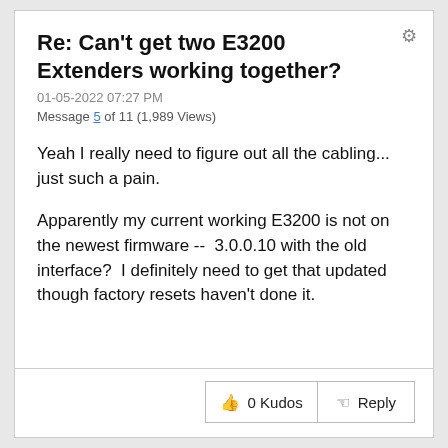Re: Can't get two E3200 Extenders working together?
01-05-2022 07:27 PM
Message 5 of 11 (1,989 Views)
Yeah I really need to figure out all the cabling... just such a pain.
Apparently my current working E3200 is not on the newest firmware --  3.0.0.10 with the old interface?  I definitely need to get that updated though factory resets haven't done it.